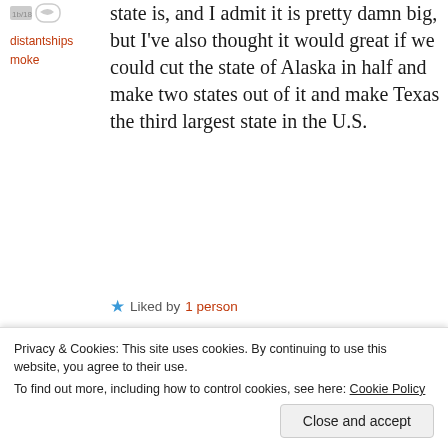state is, and I admit it is pretty damn big, but I've also thought it would great if we could cut the state of Alaska in half and make two states out of it and make Texas the third largest state in the U.S.
distantshipsmoke
Liked by 1 person
Reply
July 24, 2015 at 4:35 pm
Go ahead on and do it. When global
Privacy & Cookies: This site uses cookies. By continuing to use this website, you agree to their use. To find out more, including how to control cookies, see here: Cookie Policy
Close and accept